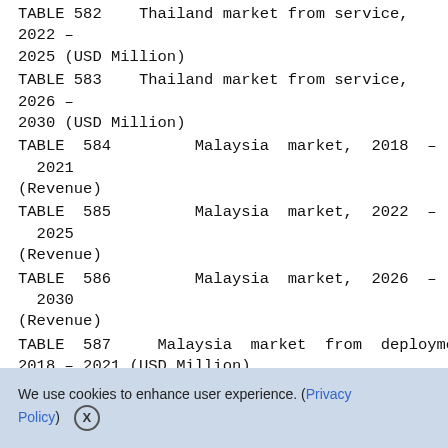TABLE 582    Thailand market from service, 2022 – 2025 (USD Million)
TABLE 583    Thailand market from service, 2026 – 2030 (USD Million)
TABLE 584         Malaysia market, 2018 – 2021 (Revenue)
TABLE 585         Malaysia market, 2022 – 2025 (Revenue)
TABLE 586         Malaysia market, 2026 – 2030 (Revenue)
TABLE 587    Malaysia market from deployment, 2018 – 2021 (USD Million)
TABLE 588    Malaysia market from deployment,
We use cookies to enhance user experience. (Privacy Policy)  X